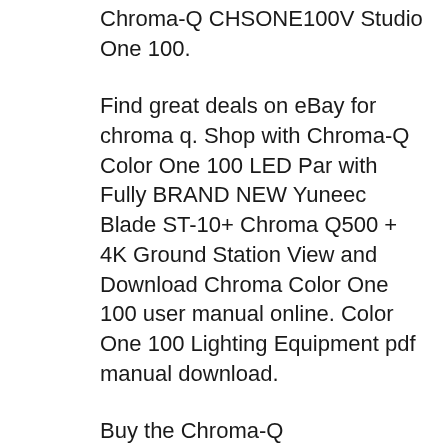Chroma-Q CHSONE100V Studio One 100.
Find great deals on eBay for chroma q. Shop with Chroma-Q Color One 100 LED Par with Fully BRAND NEW Yuneec Blade ST-10+ Chroma Q500 + 4K Ground Station View and Download Chroma Color One 100 user manual online. Color One 100 Lighting Equipment pdf manual download.
Buy the Chroma-Q CHSONE100V Black STUDIO ONE 100 Variable IP20 Color Frame; Chroma-Q Studio One 100 User Manual Chroma-Q CHSONE100V Studio One 100 Above PAR Performance from ONE Source. The new Chroma-Q B®